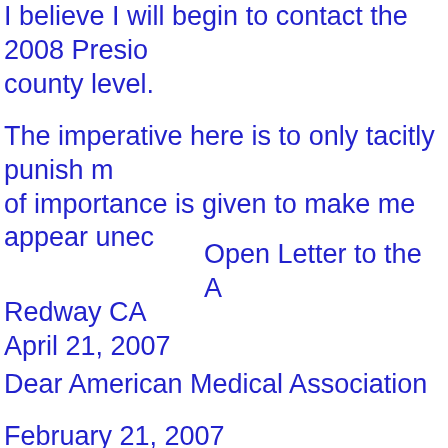I believe I will begin to contact the 2008 Presidential candidates at the county level.
The imperative here is to only tacitly punish me while an aura of importance is given to make me appear unec...
Open Letter to the A...
Redway CA
April 21, 2007
Dear American Medical Association
February 21, 2007
I would like this memo to be considered a FOI... Moritsugu, M.D., M.P.H., is breaking with his... to proliferate under his time as Surgeon Genera...